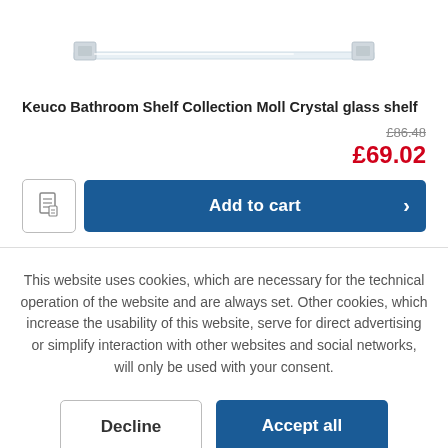[Figure (photo): Product photo of a Keuco crystal glass bathroom shelf, shown at an angle on white background, partially cropped at top]
Keuco Bathroom Shelf Collection Moll Crystal glass shelf
£86.48
£69.02
Add to cart
This website uses cookies, which are necessary for the technical operation of the website and are always set. Other cookies, which increase the usability of this website, serve for direct advertising or simplify interaction with other websites and social networks, will only be used with your consent.
Decline
Accept all